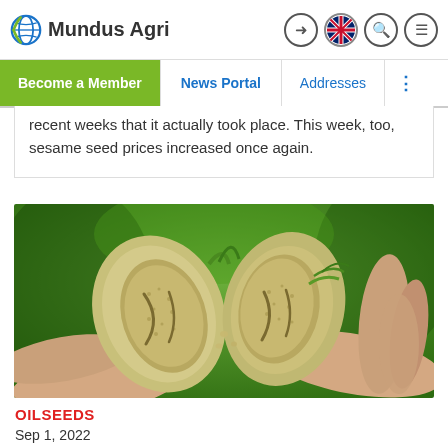Mundus Agri
recent weeks that it actually took place. This week, too, sesame seed prices increased once again.
[Figure (photo): Hands holding open a sesame seed pod showing seeds inside, with green plant background]
OILSEEDS
Sep 1, 2022